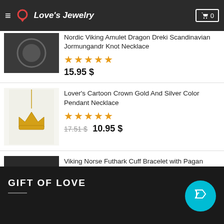Love's Jewelry
[Figure (photo): Partial product image of a dark Viking amulet necklace]
Nordic Viking Amulet Dragon Dreki Scandinavian Jormungandr Knot Necklace
★★★★★
15.95 $
[Figure (photo): Gold crown pendant necklace on white background]
Lover's Cartoon Crown Gold And Silver Color Pendant Necklace
★★★★★
17.51 $  10.95 $
[Figure (photo): Silver Viking Norse Futhark Cuff Bracelet on dark background]
Viking Norse Futhark Cuff Bracelet with Pagan Symbol
★★★★★
18.32 $
GIFT OF LOVE